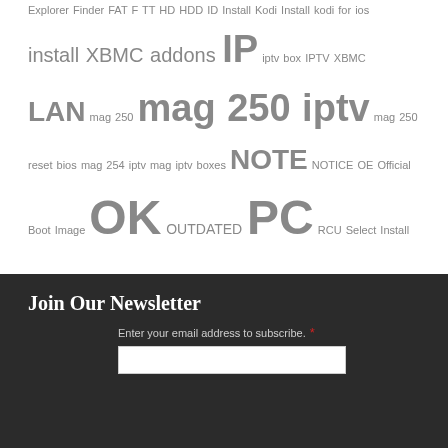Explorer Finder FAT F TT HD HDD ID Install Kodi Install kodi for ios install XBMC addons IP iptv box IPTV XBMC LAN mag 250 mag 250 iptv mag 250 reset bios mag 254 iptv mag iptv boxes NOTE NOTICE OE Official Boot Image OK OUTDATED PC RCU Select Install smart tv STB TV USB VFD VLC VU XBMC xbmc addons 2015 xbmc addons live tv xbmc install addon zip file XBMC video tutorial
Join Our Newsletter
Enter your email address to subscribe. *